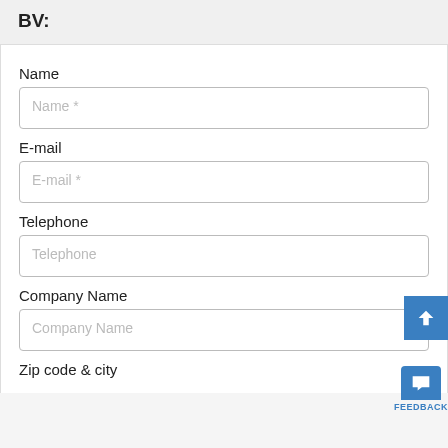BV:
Name
Name *
E-mail
E-mail *
Telephone
Telephone
Company Name
Company Name
Zip code & city